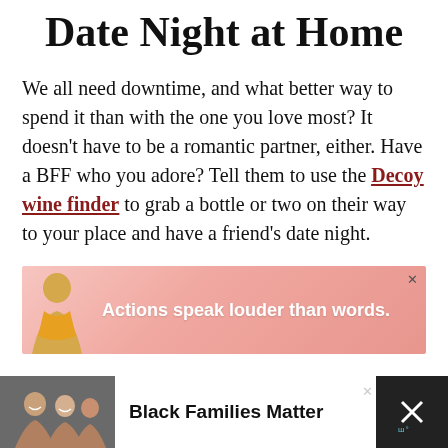Date Night at Home
We all need downtime, and what better way to spend it than with the one you love most? It doesn't have to be a romantic partner, either. Have a BFF who you adore? Tell them to use the Decoy wine finder to grab a bottle or two on their way to your place and have a friend's date night.
[Figure (other): Advertisement banner with pink gradient background and a silhouette of a person, text reading 'Actions speak louder than words.']
[Figure (other): Advertisement banner on dark background showing smiling family photo on left, white section with text 'Black Families Matter', and a close icon on right.]